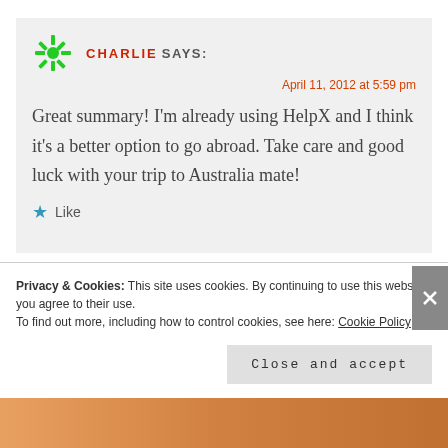CHARLIE SAYS:
April 11, 2012 at 5:59 pm
Great summary! I'm already using HelpX and I think it's a better option to go abroad. Take care and good luck with your trip to Australia mate!
Like
Privacy & Cookies: This site uses cookies. By continuing to use this website, you agree to their use. To find out more, including how to control cookies, see here: Cookie Policy
Close and accept